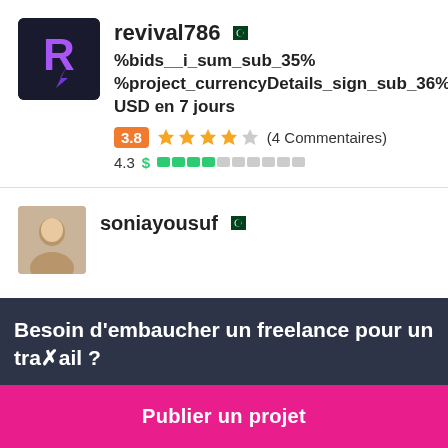[Figure (logo): Avatar/logo for user revival786 - dark navy background with stylized purple/pink R letter and lightning bolt]
revival786
[Figure (illustration): Pakistani flag icon next to username revival786]
%bids__i_sum_sub_35% %project_currencyDetails_sign_sub_36% USD en 7 jours
3.8 ★★★★☆ (4 Commentaires)
4.3 $ ████░░░░░░
[Figure (photo): Profile photo thumbnail of soniayousuf]
soniayousuf
Besoin d'embaucher un freelance pour un travail ?
Publier un projet